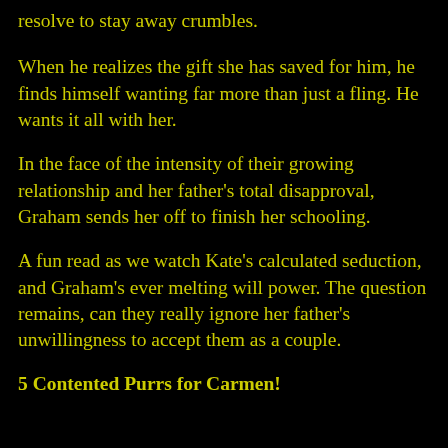resolve to stay away crumbles.
When he realizes the gift she has saved for him, he finds himself wanting far more than just a fling. He wants it all with her.
In the face of the intensity of their growing relationship and her father's total disapproval, Graham sends her off to finish her schooling.
A fun read as we watch Kate's calculated seduction, and Graham's ever melting will power. The question remains, can they really ignore her father's unwillingness to accept them as a couple.
5 Contented Purrs for Carmen!